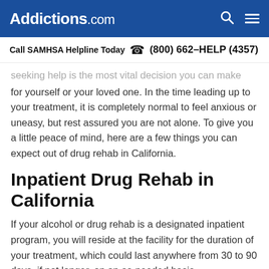Addictions.com
Call SAMHSA Helpline Today  (800) 662-HELP (4357)
seeking help is the most vital decision you can make for yourself or your loved one. In the time leading up to your treatment, it is completely normal to feel anxious or uneasy, but rest assured you are not alone. To give you a little peace of mind, here are a few things you can expect out of drug rehab in California.
Inpatient Drug Rehab in California
If your alcohol or drug rehab is a designated inpatient program, you will reside at the facility for the duration of your treatment, which could last anywhere from 30 to 90 days, if not longer, on an as-needed basis.